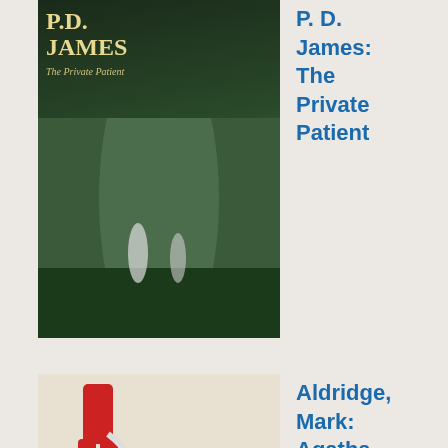[Figure (photo): Book cover of P.D. James: The Private Patient, dark moody landscape]
P. D. James: The Private Patient
[Figure (photo): Book cover of Aldridge, Mark: Agatha Christie's Poirot with red figure and POIROT title]
Aldridge, Mark: Agatha
Christie's Poirot: The Greatest Detective in the World
[Figure (photo): Book cover of E H Young: Miss, green background]
E H Young: Miss